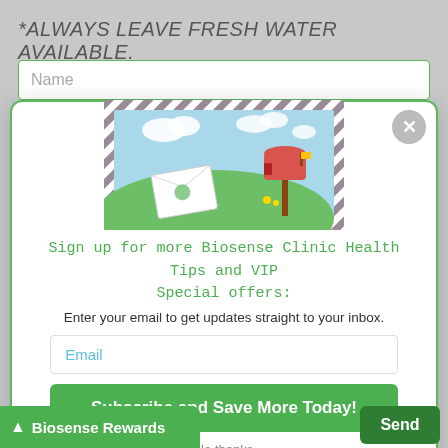*ALWAYS LEAVE FRESH WATER AVAILABLE.
[Figure (screenshot): A popup modal with a mailbox illustration showing fields to sign up for Biosense Clinic Health Tips and VIP Special offers via email subscription, with a subscribe button and no thanks link.]
Sign up for more Biosense Clinic Health Tips and VIP Special offers:
Enter your email to get updates straight to your inbox.
Email
Subscribe and Save More Today!
No thanks
Biosense Rewards
Send